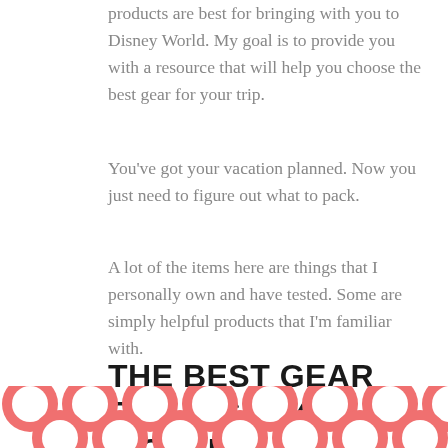products are best for bringing with you to Disney World. My goal is to provide you with a resource that will help you choose the best gear for your trip.
You've got your vacation planned. Now you just need to figure out what to pack.
A lot of the items here are things that I personally own and have tested. Some are simply helpful products that I'm familiar with.
THE BEST GEAR FOR DISNEY WORLD
[Figure (illustration): Pink/salmon polka dot decorative pattern at the bottom of the page]